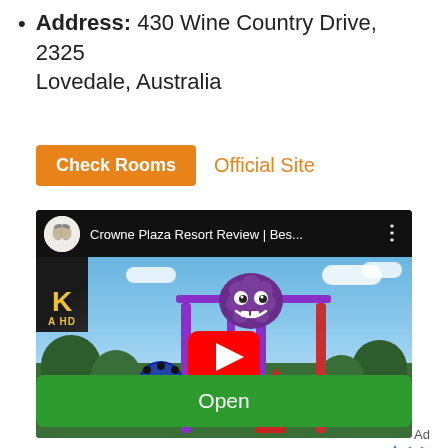Address: 430 Wine Country Drive, 2325 Lovedale, Australia
Check Rooms   Official Site
[Figure (screenshot): YouTube video thumbnail for 'Crowne Plaza Resort Review | Bes...' showing a water park scene with a purple cartoon grape character on playground equipment, blue sky, trees, red arrow pointing up, a film reel, and a YouTube play button overlay. Top-left shows a 4K HD badge. Video bar shows a circular avatar icon and three-dot menu.]
Accident Notification
Open
Ad